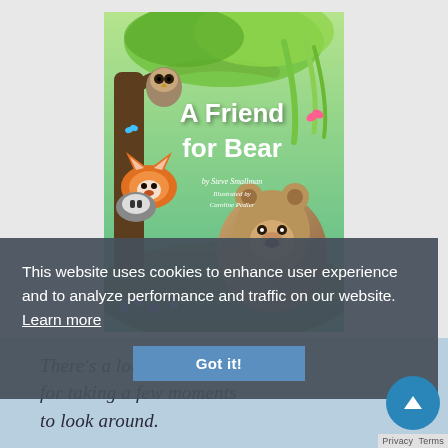[Figure (illustration): Book cover of 'A Friend for Bear' by Steve Smallman, illustrated by Caroline Pedler. Shows woodland animals including a bear, fox, owl, and badger in a green forest setting.]
This website uses cookies to enhance user experience and to analyze performance and traffic on our website. Learn more
Got it!
There's a lot to be said for taking a few moments to look around.